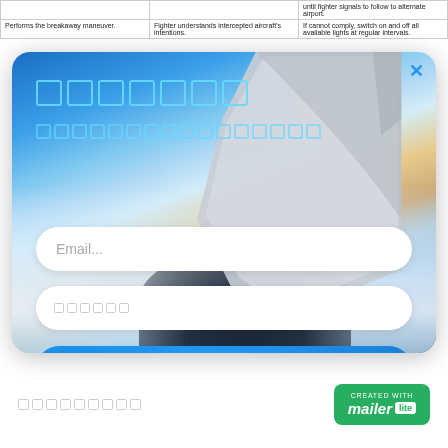|  |  | until fighter signals to follow to alternate airport. |
| Performs the breakaway maneuver. | Fighter understands intercepted aircraft's intentions. | If cannot comply, switch on and off all available lights at regular intervals. |
[Figure (screenshot): Email subscription modal popup with airplane wing sky background. Contains headline placeholder squares (cyan outline boxes), subtitle placeholder squares, email input field, name input field, and a blue submit button. Close X button in top right corner.]
████████
[Figure (logo): MailerLite green badge logo with 'CREATED WITH' text above 'mailer lite' branding in white on green background]